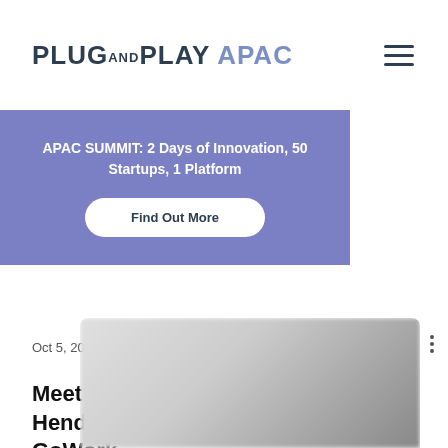PLUG AND PLAY APAC
APAC SUMMIT: 2 Days of Innovation, 50 Startups, 1 Platform
Find Out More
Oct 5, 2021  ·  3 min
Meet Our Mentors: Vanessa Hendriadi, CEO & Co-Founder of GoWork
[Figure (photo): Partially visible blurred photo of a person at the bottom of the page]